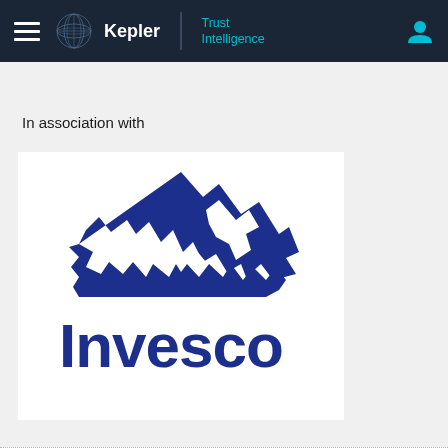Kepler | Trust Intelligence
In association with
[Figure (logo): Invesco logo — a dark blue stylized mountain/Matterhorn silhouette above the word 'Invesco' in bold dark blue sans-serif text, on a white background]